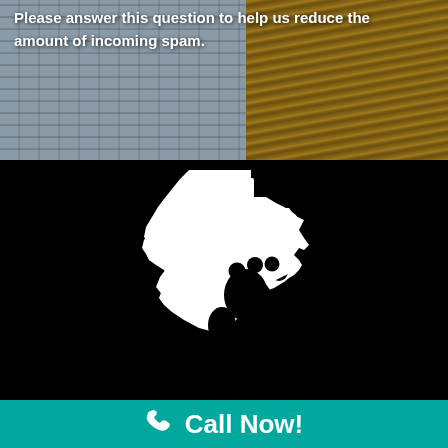[Figure (photo): Photo of stone/brick wall with wood floor in background]
Please answer this question to help us reduce the amount of incoming spam.
[Figure (logo): White Texas state shape silhouette with footprint design on black background]
Call Now!